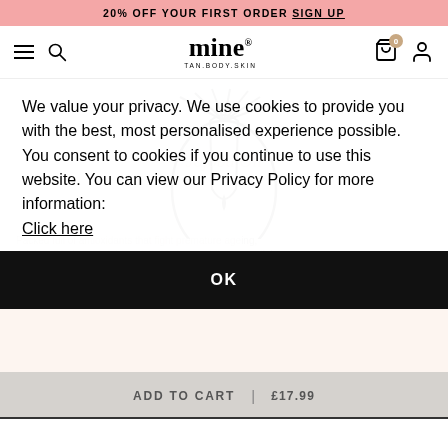20% OFF YOUR FIRST ORDER SIGN UP
[Figure (logo): Mine Tan Body Skin logo with hamburger menu, search icon, cart icon with badge 0, and user icon]
[Figure (illustration): Jojoba oil dropper illustration with radiating lines, tan/beige watercolor background, and 'Jojoba Oil' text overlay]
We value your privacy. We use cookies to provide you with the best, most personalised experience possible. You consent to cookies if you continue to use this website. You can view our Privacy Policy for more information: Click here
Packed full of antioxidants that fight premature ageing, Jojoba Oil helps to brighten dull skin by providing essential
Moroccan Self Tan Foam
OK
ADD TO CART | £17.99